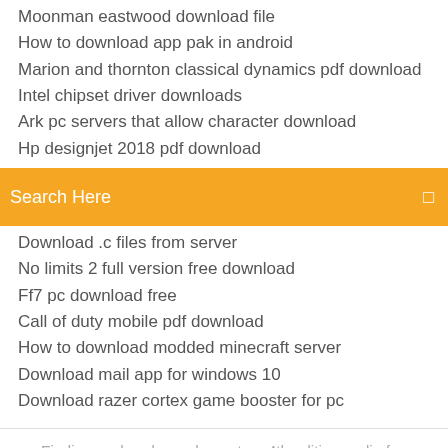Moonman eastwood download file
How to download app pak in android
Marion and thornton classical dynamics pdf download
Intel chipset driver downloads
Ark pc servers that allow character download
Hp designjet 2018 pdf download
[Figure (screenshot): Orange search bar with text 'Search Here' and a search icon on the right]
Download .c files from server
No limits 2 full version free download
Ff7 pc download free
Call of duty mobile pdf download
How to download modded minecraft server
Download mail app for windows 10
Download razer cortex game booster for pc
Findig new headway elementary 4th edition audio free download to download free at first month here